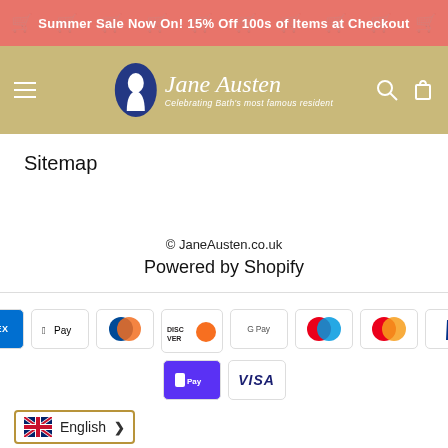Summer Sale Now On! 15% Off 100s of Items at Checkout
[Figure (logo): Jane Austen logo with navy oval silhouette, cursive name and tagline 'Celebrating Bath's most famous resident']
Sitemap
© JaneAusten.co.uk
Powered by Shopify
[Figure (infographic): Payment method icons: American Express, Apple Pay, Diners Club, Discover, Google Pay, Maestro, Mastercard, PayPal, Shop Pay, Visa]
English